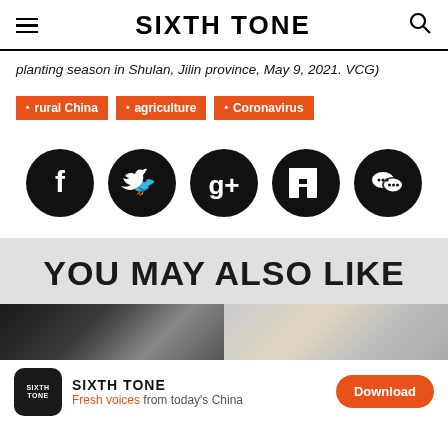SIXTH TONE
planting season in Shulan, Jilin province, May 9, 2021. VCG)
rural China
agriculture
Coronavirus
[Figure (infographic): Social media share icons: Facebook, Twitter, Google+, LinkedIn, WeChat — black circles with white icons]
YOU MAY ALSO LIKE
[Figure (photo): Two side-by-side article thumbnail images]
SIXTH TONE — Fresh voices from today's China — Download